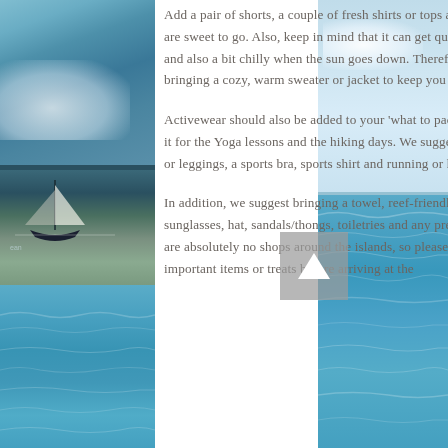[Figure (photo): Left strip showing sailing scene with sailboat and ocean waters. Right strip showing sky and blue ocean waters.]
Add a pair of shorts, a couple of fresh shirts or tops and a sundress and you are sweet to go. Also, keep in mind that it can get quite windy when sailing, and also a bit chilly when the sun goes down. Therefore, we recommend bringing a cozy, warm sweater or jacket to keep you nice and warm.
Activewear should also be added to your 'what to pack' list, as you will need it for the Yoga lessons and the hiking days. We suggest a pair of biker shorts or leggings, a sports bra, sports shirt and running or hiking shoes.
In addition, we suggest bringing a towel, reef-friendly sunscreen, lip balm, sunglasses, hat, sandals/thongs, toiletries and any prescribed medicines. There are absolutely no shops around the islands, so please make sure you pack important items or treats before arriving at the